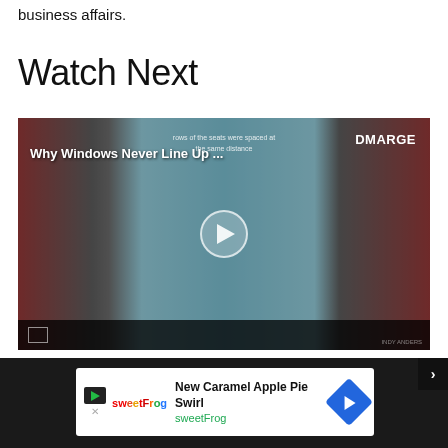business affairs.
Watch Next
[Figure (screenshot): Video thumbnail showing airplane interior diagram with chain-link graphics overlaid, titled 'Why Windows Never Line Up ...' with DMARGE branding and a play button in the center.]
[Figure (screenshot): Advertisement banner for sweetFrog featuring 'New Caramel Apple Pie Swirl' with sweetFrog branding and navigation arrow icon.]